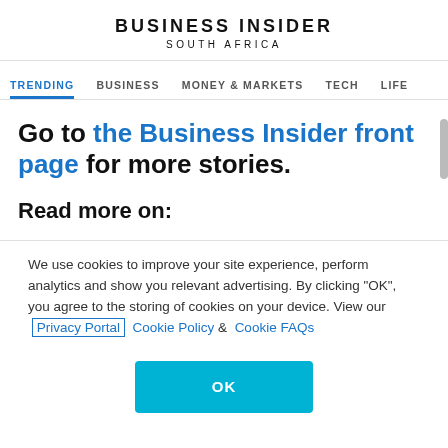BUSINESS INSIDER
SOUTH AFRICA
TRENDING  BUSINESS  MONEY & MARKETS  TECH  LIFE
Go to the Business Insider front page for more stories.
Read more on:
We use cookies to improve your site experience, perform analytics and show you relevant advertising. By clicking "OK", you agree to the storing of cookies on your device. View our Privacy Portal  Cookie Policy &  Cookie FAQs
OK